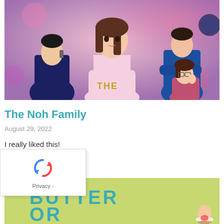[Figure (illustration): Manga/anime style cover art for 'The Noh Family' showing multiple characters including a central young woman with brown hair, a man on the left talking on phone, a man in blue shirt with arms crossed on right, and a young woman with glasses on lower right. Text 'THE' visible on character's shirt.]
The Noh Family
August 29, 2022
I really liked this!
Read More »
[Figure (illustration): Partial view of another manga/anime cover with teal/green background showing large teal letters 'BUTTER OR' and a small character holding a plate with dessert.]
[Figure (other): reCAPTCHA widget overlay in bottom left corner with circular arrows logo and 'Privacy' label]